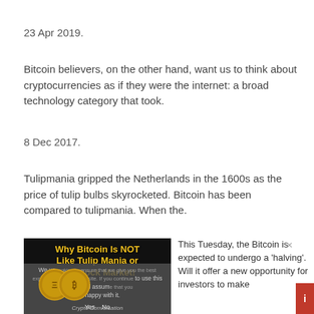23 Apr 2019.
Bitcoin believers, on the other hand, want us to think about cryptocurrencies as if they were the internet: a broad technology category that took.
8 Dec 2017.
Tulipmania gripped the Netherlands in the 1600s as the price of tulip bulbs skyrocketed. Bitcoin has been compared to tulipmania. When the.
[Figure (photo): Screenshot of a video thumbnail titled 'Why Bitcoin Is NOT Like Tulip Mania or the Stock Market!' from Crypto Conversation, with a cookie consent overlay showing 'Yes' and 'No' buttons and two cryptocurrency coins visible.]
This Tuesday, the Bitcoin is expected to undergo a 'halving'. Will it offer a new opportunity for investors to make